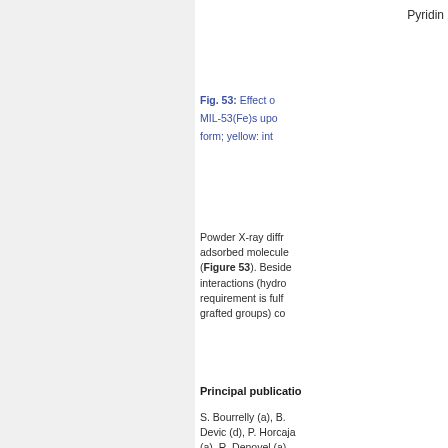Pyridin
Fig. 53: Effect of MIL-53(Fe)s upo form; yellow: int
Powder X-ray diffr adsorbed molecule (Figure 53). Beside interactions (hydro requirement is fulf grafted groups) co
Principal publicatio
S. Bourrelly (a), B. Devic (d), P. Horcaja (a), R. Denoyel (a), T. Devic (d), P. Herc